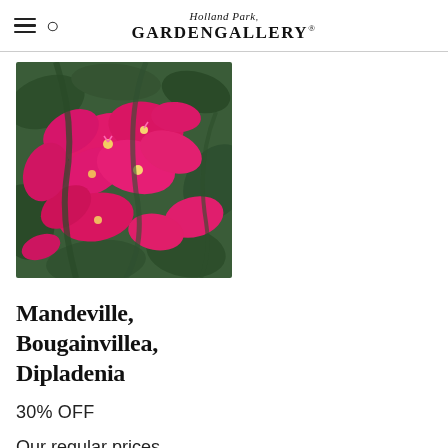Holland Park GardenGallery®
[Figure (photo): Close-up photo of bright magenta/pink Bougainvillea flowers with green leaves in the background]
Mandeville, Bougainvillea, Dipladenia
30% OFF
Our regular prices